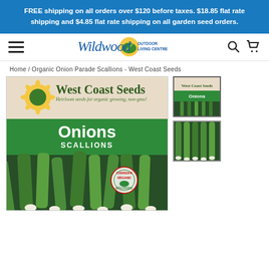FREE shipping on all orders over $120 before taxes. $18.85 flat rate shipping and $4.85 flat rate shipping on all garden seed orders.
[Figure (logo): Wildwood Outdoor Living Centre logo with navigation icons (hamburger menu, search, cart)]
Home / Organic Onion Parade Scallions - West Coast Seeds
[Figure (photo): West Coast Seeds product package for Onions Scallions Parade (ON574) showing green onions/scallions in foreground with organic certification badge]
[Figure (photo): Thumbnail 1: West Coast Seeds product package for Onions Scallions]
[Figure (photo): Thumbnail 2: Close-up photo of green onion scallion stalks]